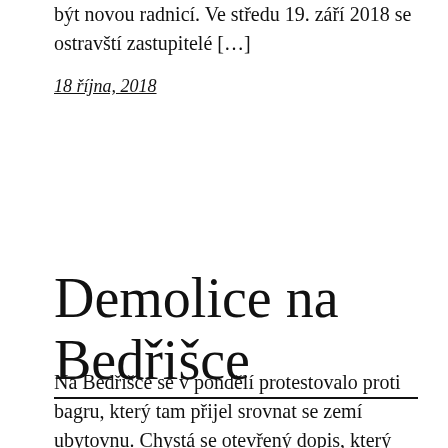být novou radnicí. Ve středu 19. září 2018 se ostravští zastupitelé […]
18 října, 2018
Demolice na Bedřišce
Na Bedřišce se v pondělí protestovalo proti bagru, který tam přijel srovnat se zemí ubytovnu. Chystá se otevřený dopis, který bude co nevidět zveřejněn. O bourání si můžete přečíst na Alarmu: